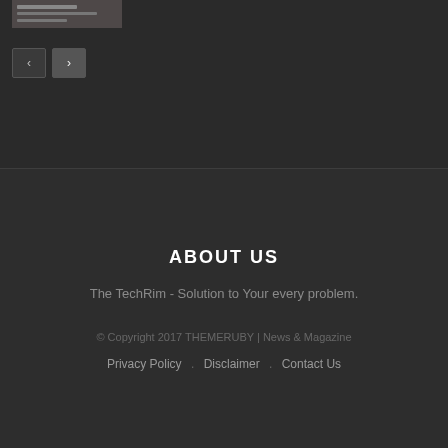[Figure (photo): Small thumbnail image of a document or hands at top left]
[Figure (other): Navigation previous/next arrow buttons]
ABOUT US
The TechRim - Solution to Your every problem.
© Copyright 2017 THEMERUBY | News & Magazine
Privacy Policy  .  Disclaimer  .  Contact Us